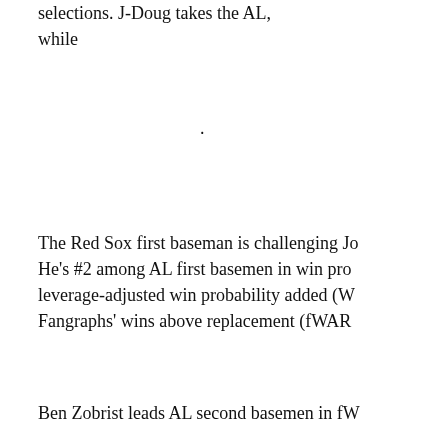selections. J-Doug takes the AL, while
.
The Red Sox first baseman is challenging Jo He's #2 among AL first basemen in win pro leverage-adjusted win probability added (W Fangraphs' wins above replacement (fWAR
Ben Zobrist leads AL second basemen in fW